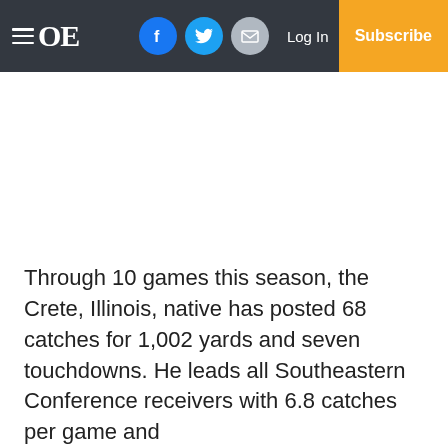≡ OE  [Facebook] [Twitter] [Email]  Log In  Subscribe
Through 10 games this season, the Crete, Illinois, native has posted 68 catches for 1,002 yards and seven touchdowns. He leads all Southeastern Conference receivers with 6.8 catches per game and